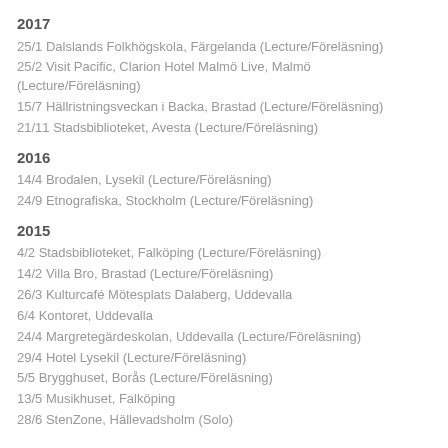2017
25/1 Dalslands Folkhögskola, Färgelanda (Lecture/Föreläsning)
25/2 Visit Pacific, Clarion Hotel Malmö Live, Malmö (Lecture/Föreläsning)
15/7 Hällristningsveckan i Backa, Brastad (Lecture/Föreläsning)
21/11 Stadsbiblioteket, Avesta (Lecture/Föreläsning)
2016
14/4 Brodalen, Lysekil (Lecture/Föreläsning)
24/9 Etnografiska, Stockholm (Lecture/Föreläsning)
2015
4/2 Stadsbiblioteket, Falköping (Lecture/Föreläsning)
14/2 Villa Bro, Brastad (Lecture/Föreläsning)
26/3 Kulturcafé Mötesplats Dalaberg, Uddevalla
6/4 Kontoret, Uddevalla
24/4 Margretegärdeskolan, Uddevalla (Lecture/Föreläsning)
29/4 Hotel Lysekil (Lecture/Föreläsning)
5/5 Brygghuset, Borås (Lecture/Föreläsning)
13/5 Musikhuset, Falköping
28/6 StenZone, Hällevadsholm (Solo)